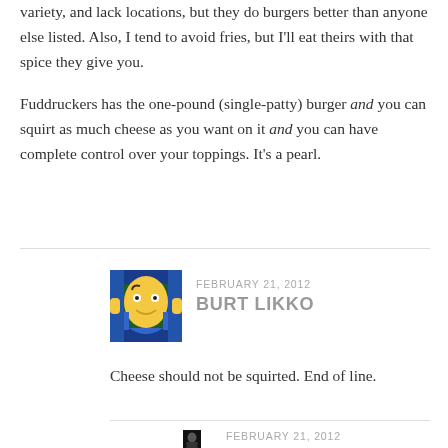variety, and lack locations, but they do burgers better than anyone else listed. Also, I tend to avoid fries, but I'll eat theirs with that spice they give you.
Fuddruckers has the one-pound (single-patty) burger and you can squirt as much cheese as you want on it and you can have complete control over your toppings. It's a pearl.
FEBRUARY 21, 2012
BURT LIKKO
Cheese should not be squirted. End of line.
FEBRUARY 21, 2012